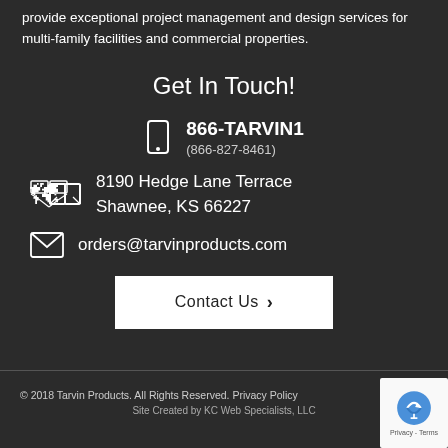provide exceptional project management and design services for multi-family facilities and commercial properties.
Get In Touch!
866-TARVIN1 (866-827-8461)
8190 Hedge Lane Terrace Shawnee, KS 66227
orders@tarvinproducts.com
Contact Us
© 2018 Tarvin Products. All Rights Reserved. Privacy Policy Site Created by KC Web Specialists, LLC